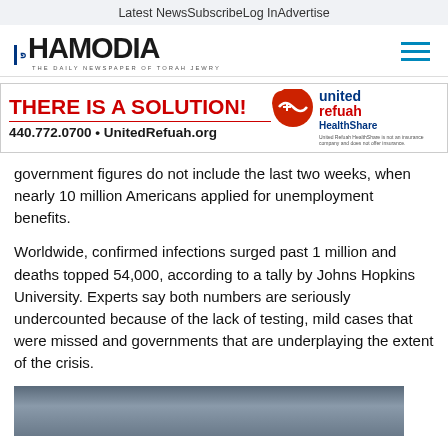Latest News   Subscribe   Log In   Advertise
[Figure (logo): Hamodia newspaper logo with Hebrew letter Peh and tagline 'THE DAILY NEWSPAPER OF TORAH JEWRY']
[Figure (infographic): United Refuah HealthShare advertisement banner. Red text: THERE IS A SOLUTION! Phone: 440.772.0700 • UnitedRefuah.org. Logo with United Refuah HealthShare branding. Disclaimer: United Refuah HealthShare is not an insurance company and does not offer insurance.]
government figures do not include the last two weeks, when nearly 10 million Americans applied for unemployment benefits.
Worldwide, confirmed infections surged past 1 million and deaths topped 54,000, according to a tally by Johns Hopkins University. Experts say both numbers are seriously undercounted because of the lack of testing, mild cases that were missed and governments that are underplaying the extent of the crisis.
[Figure (photo): Partial photo at bottom of page, appears to show a building or infrastructure scene]